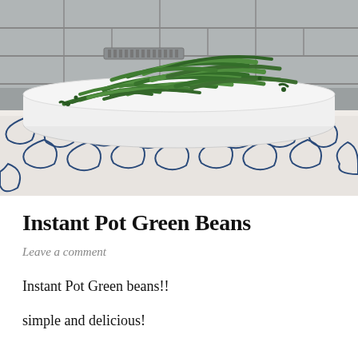[Figure (photo): A white rectangular plate piled with cooked green beans, placed on a blue and white patterned tablecloth. The background shows a gray tile wall.]
Instant Pot Green Beans
Leave a comment
Instant Pot Green beans!!
simple and delicious!